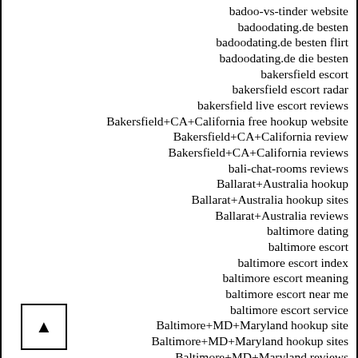badoo-vs-tinder website
badoodating.de besten
badoodating.de besten flirt
badoodating.de die besten
bakersfield escort
bakersfield escort radar
bakersfield live escort reviews
Bakersfield+CA+California free hookup website
Bakersfield+CA+California review
Bakersfield+CA+California reviews
bali-chat-rooms reviews
Ballarat+Australia hookup
Ballarat+Australia hookup sites
Ballarat+Australia reviews
baltimore dating
baltimore escort
baltimore escort index
baltimore escort meaning
baltimore escort near me
baltimore escort service
Baltimore+MD+Maryland hookup site
Baltimore+MD+Maryland hookup sites
Baltimore+MD+Maryland reviews
bangladesh-chat-rooms review
Bangpals review
Baptist Dating DE Gutscheincode
Baptist Dating DE Promo Codes